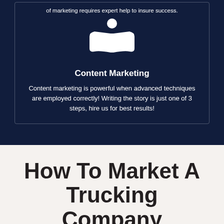of marketing requires expert help to insure success.
[Figure (illustration): White icon of a person reading an open book on a dark navy background]
Content Marketing
Content marketing is powerful when advanced techniques are employed correctly! Writing the story is just one of 3 steps, hire us for best results!
How To Market A Trucking Company
[Figure (illustration): Row of orange arrow/chevron decorative dots]